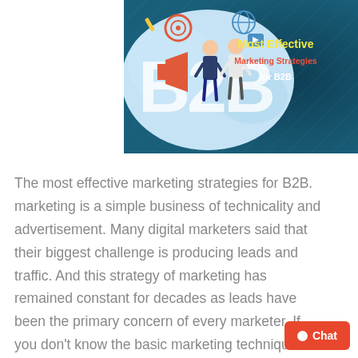[Figure (illustration): B2B marketing banner image with illustrated characters, B2B logo on a light blue cloud background on the left, and text 'Most Effective Marketing Strategies for B2B' on a dark teal background on the right]
The most effective marketing strategies for B2B. marketing is a simple business of technicality and advertisement. Many digital marketers said that their biggest challenge is producing leads and traffic. And this strategy of marketing has remained constant for decades as leads have been the primary concern of every marketer. If you don't know the basic marketing techniques and methods, then doing business will be incredibly tough